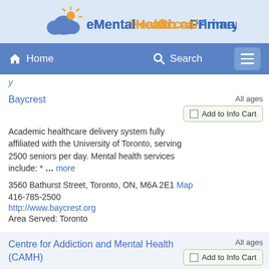eMentalHealth.ca/PrimaryCare
Home   Search   [menu]
y (partial breadcrumb)
Baycrest
All ages
☐ Add to Info Cart
Academic healthcare delivery system fully affiliated with the University of Toronto, serving 2500 seniors per day. Mental health services include: * … more
3560 Bathurst Street, Toronto, ON, M6A 2E1 Map
416-785-2500
http://www.baycrest.org
Area Served: Toronto
Centre for Addiction and Mental Health (CAMH)
All ages
☐ Add to Info Cart
The Centre for Addiction and Mental Health (CAMH) is Canada's largest